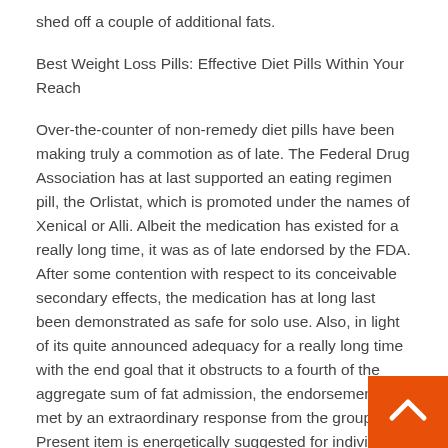shed off a couple of additional fats.
Best Weight Loss Pills: Effective Diet Pills Within Your Reach
Over-the-counter of non-remedy diet pills have been making truly a commotion as of late. The Federal Drug Association has at last supported an eating regimen pill, the Orlistat, which is promoted under the names of Xenical or Alli. Albeit the medication has existed for a really long time, it was as of late endorsed by the FDA. After some contention with respect to its conceivable secondary effects, the medication has at long last been demonstrated as safe for solo use. Also, in light of its quite announced adequacy for a really long time with the end goal that it obstructs to a fourth of the aggregate sum of fat admission, the endorsement was met by an extraordinary response from the group. Present item is energetically suggested for individuals wh